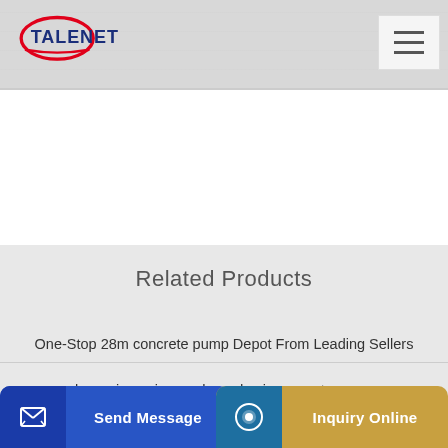TALENET
Related Products
One-Stop 28m concrete pump Depot From Leading Sellers
harga jayamix murah readymix concrete pump
Send Message
Inquiry Online